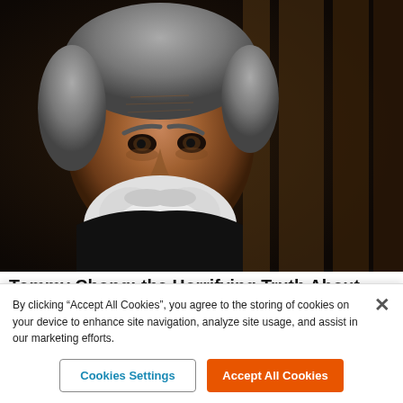[Figure (photo): Portrait photo of an elderly man with gray hair and white beard wearing a black jacket, photographed against a dark brown background with curtain-like vertical panels on the right.]
Tommy Chong: the Horrifying Truth About CBD
By clicking "Accept All Cookies", you agree to the storing of cookies on your device to enhance site navigation, analyze site usage, and assist in our marketing efforts.
Cookies Settings
Accept All Cookies